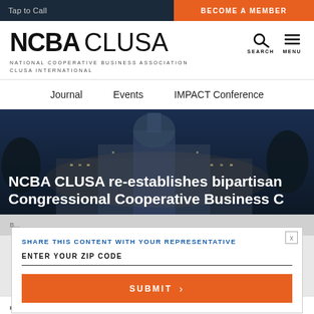Tap to Call | BECOME A MEMBER
[Figure (logo): NCBA CLUSA logo with search and menu icons]
NATIONAL COOPERATIVE BUSINESS ASSOCIATION CLUSA INTERNATIONAL
Journal   Events   IMPACT Conference
[Figure (photo): Night photo of government/capitol building with dark blue overlay]
NCBA CLUSA re-establishes bipartisan Congressional Cooperative Business C…
SHARE THIS CONTENT WITH YOUR REPRESENTATIVE
ENTER YOUR ZIP CODE
SUBMIT
PUBLISHER: TUESDAY, SEPTEMBER 17, 2019